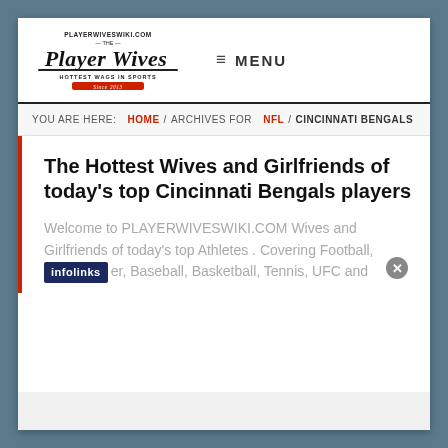[Figure (logo): Player Wives Wiki logo - cursive text reading 'Player Wives' with tagline 'HOTTEST WAGS IN SPORTS Since 2013']
≡ MENU
YOU ARE HERE: HOME / ARCHIVES FOR NFL / CINCINNATI BENGALS
The Hottest Wives and Girlfriends of today's top Cincinnati Bengals players
Welcome to PLAYERWIVESWIKI.COM Wives and Girlfriends of today's top Athletes . Covering Football, Soccer, Baseball, Basketball, Tennis, UFC and